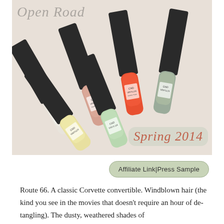[Figure (photo): Six CND Vinylux nail polish bottles arranged in a fan/diagonal pattern on a white background. Colors include cream/white, peach/salmon, coral/red-orange, pale yellow, light mint green, and sage green. Overlaid text reads 'Open Road' in grey italic at top left and 'Spring 2014' in coral italic at bottom right.]
Affiliate Link|Press Sample
Route 66. A classic Corvette convertible. Windblown hair (the kind you see in the movies that doesn't require an hour of de-tangling). The dusty, weathered shades of